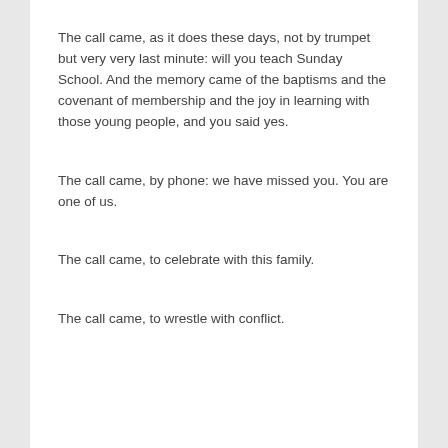The call came, as it does these days, not by trumpet but very very last minute: will you teach Sunday School. And the memory came of the baptisms and the covenant of membership and the joy in learning with those young people, and you said yes.
The call came, by phone: we have missed you. You are one of us.
The call came, to celebrate with this family.
The call came, to wrestle with conflict.